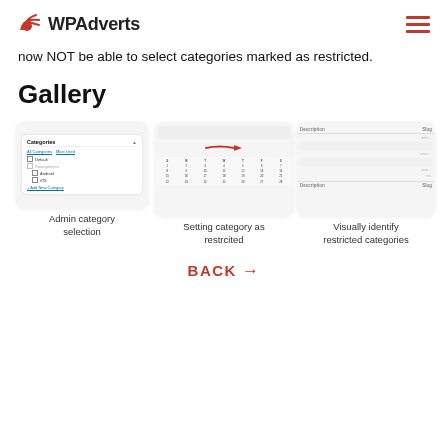WPAdverts
now NOT be able to select categories marked as restricted.
Gallery
[Figure (screenshot): Admin category selection panel showing categories: Default, Smartphones, Android, iOS with checkboxes and Add New Category link]
Admin category selection
[Figure (screenshot): Setting category as restricted - showing a calendar/date picker UI with a red arrow indicator]
Setting category as restrcited
[Figure (screenshot): Visually identify restricted categories - showing a Description/Slug table interface]
Visually identify restricted categories
BACK →